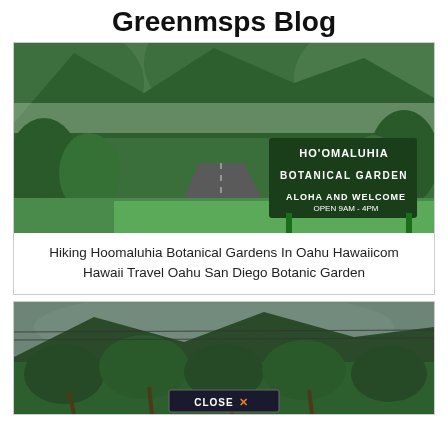Greenmsps Blog
[Figure (photo): Winding road through lush tropical forest leading to Ho'omaluhia Botanical Garden sign in Oahu, Hawaii. Sign reads 'HO'OMALUHIA BOTANICAL GARDEN ALOHA AND WELCOME OPEN 9AM-4PM']
Hiking Hoomaluhia Botanical Gardens In Oahu Hawaiicom Hawaii Travel Oahu San Diego Botanic Garden
[Figure (photo): Dense tropical forest with palm trees and lush green canopy against a cloudy, misty sky. A 'CLOSE X' button overlay appears at the bottom center.]